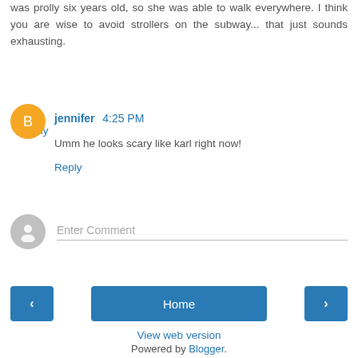was prolly six years old, so she was able to walk everywhere. I think you are wise to avoid strollers on the subway... that just sounds exhausting.
Reply
jennifer 4:25 PM
Umm he looks scary like karl right now!
Reply
Enter Comment
Home
View web version
Powered by Blogger.